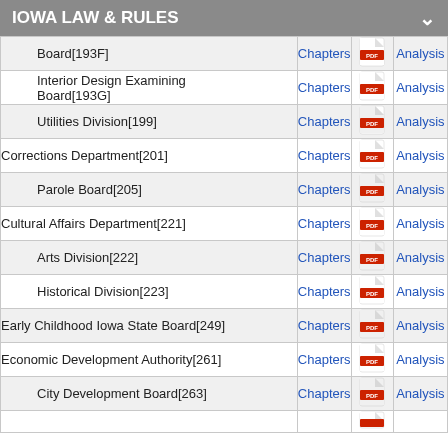IOWA LAW & RULES
| Name | Chapters | PDF | Analysis |
| --- | --- | --- | --- |
| Board[193F] | Chapters |  | Analysis |
| Interior Design Examining Board[193G] | Chapters |  | Analysis |
| Utilities Division[199] | Chapters |  | Analysis |
| Corrections Department[201] | Chapters |  | Analysis |
| Parole Board[205] | Chapters |  | Analysis |
| Cultural Affairs Department[221] | Chapters |  | Analysis |
| Arts Division[222] | Chapters |  | Analysis |
| Historical Division[223] | Chapters |  | Analysis |
| Early Childhood Iowa State Board[249] | Chapters |  | Analysis |
| Economic Development Authority[261] | Chapters |  | Analysis |
| City Development Board[263] | Chapters |  | Analysis |